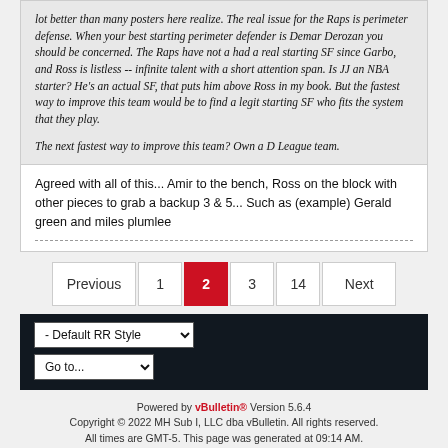lot better than many posters here realize. The real issue for the Raps is perimeter defense. When your best starting perimeter defender is Demar Derozan you should be concerned. The Raps have not a had a real starting SF since Garbo, and Ross is listless -- infinite talent with a short attention span. Is JJ an NBA starter? He's an actual SF, that puts him above Ross in my book. But the fastest way to improve this team would be to find a legit starting SF who fits the system that they play.

The next fastest way to improve this team? Own a D League team.
Agreed with all of this... Amir to the bench, Ross on the block with other pieces to grab a backup 3 & 5... Such as (example) Gerald green and miles plumlee
Previous 1 2 3 14 Next
- Default RR Style
Go to...
Powered by vBulletin® Version 5.6.4
Copyright © 2022 MH Sub I, LLC dba vBulletin. All rights reserved.
All times are GMT-5. This page was generated at 09:14 AM.